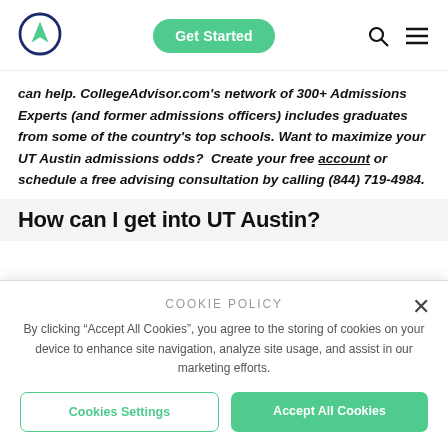[Figure (logo): CollegeAdvisor logo: dark blue circle with a green navigation/compass arrow pointer inside]
Get Started
can help. CollegeAdvisor.com's network of 300+ Admissions Experts (and former admissions officers) includes graduates from some of the country's top schools. Want to maximize your UT Austin admissions odds?  Create your free account or schedule a free advising consultation by calling (844) 719-4984.
How can I get into UT Austin?
COOKIE POLICY
By clicking "Accept All Cookies", you agree to the storing of cookies on your device to enhance site navigation, analyze site usage, and assist in our marketing efforts.
Cookies Settings
Accept All Cookies